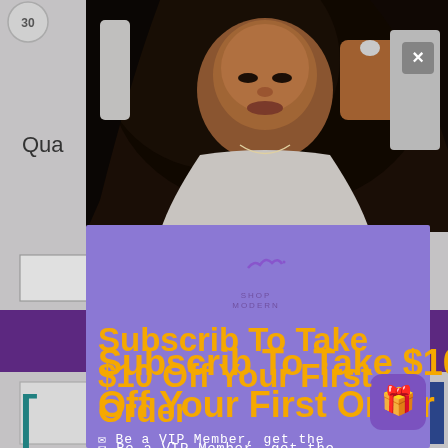[Figure (photo): Screenshot of an e-commerce product page with a popup modal overlay. Background shows a woman with long dark wavy hair wearing a light-colored jacket. The foreground shows a purple/violet modal popup with a logo, promotional headline, and descriptive text. A gift icon button is in the lower right. An X close button is in the upper right of the photo area.]
Subscrib To Take $10 Off Your First Order
✉ Be a VIP Member, get the latest sales, tips and tricks for the fashion hair industry first.